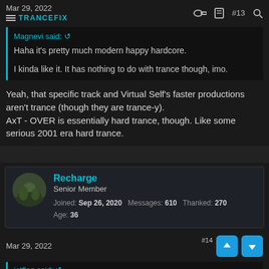Mar 29, 2022 | TRANCEFIX | #13
Magnevi said: ↩

Haha it's pretty much modern happy hardcore.

I kinda like it. It has nothing to do with trance though, imo.
Yeah, that specific track and Virtual Self's faster productions aren't trance (though they are trance-y).
AxT - OVER is essentially hard trance, though. Like some serious 2001 era hard trance.
Recharge
Senior Member
Joined: Sep 26, 2020  Messages: 610  Thanked: 270  Age: 36
Mar 29, 2022 | #14
jetflag said: ↩